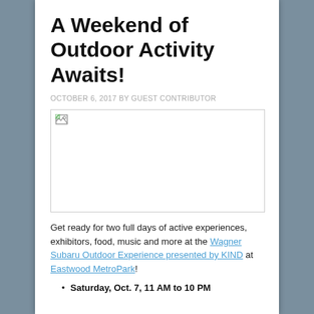A Weekend of Outdoor Activity Awaits!
OCTOBER 6, 2017 BY GUEST CONTRIBUTOR
[Figure (photo): Broken/missing image placeholder with small broken image icon in top-left corner]
Get ready for two full days of active experiences, exhibitors, food, music and more at the Wagner Subaru Outdoor Experience presented by KIND at Eastwood MetroPark!
Saturday, Oct. 7, 11 AM to 10 PM